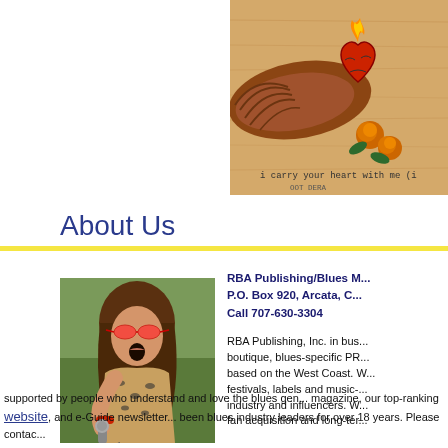[Figure (illustration): Colorful tattoo-style illustration of a winged sacred heart with roses and flame, on a wood-grain background. Text at bottom reads 'i carry your heart with me (i'.]
About Us
[Figure (photo): Photo of a woman with long brown hair and red sunglasses singing into a microphone, wearing a leopard-print top and red wristband, performing outdoors.]
RBA Publishing/Blues M... P.O. Box 920, Arcata, C... Call 707-630-3304
RBA Publishing, Inc. in bus... boutique, blues-specific PR... based on the West Coast. W... festivals, labels and music-... industry and influencers. W... fan acquisition and long-ter... supported by people who understand and love the blues gen... magazine, our top-ranking website, and e-Guide newsletter... been blues industry leaders for over 18 years. Please contac...